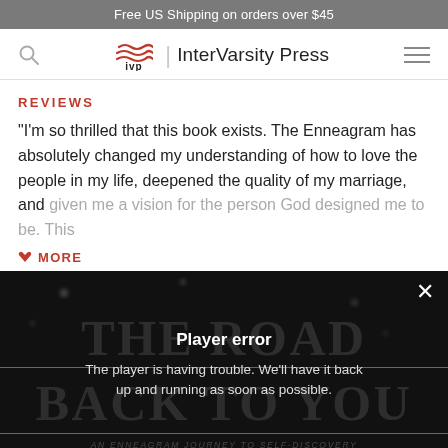Free US Shipping on orders over $45
[Figure (logo): InterVarsity Press logo with IVP waves icon and text]
REVIEWS
"I'm so thrilled that this book exists. The Enneagram has absolutely changed my understanding of how to love the people in my life, deepened the quality of my marriage, and given me a vision for the person God designed me to be. This
♥ MORE
[Figure (screenshot): Video player showing 'The Road Back to You: An Enneagram Journey to Self-Discovery' with a player error overlay. Error message: 'Player error — The player is having trouble. We'll have it back up and running as soon as possible.']